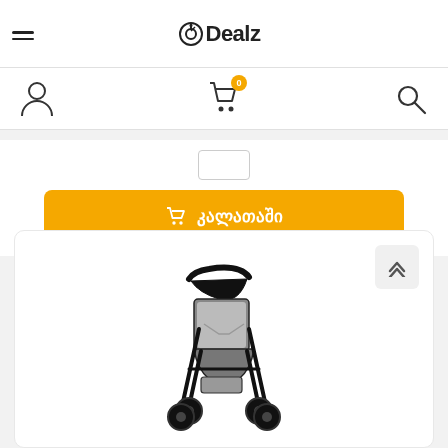Dealz
[Figure (screenshot): Add to cart button with Georgian text (კალათაში) and cart icon on orange background]
[Figure (photo): Hauck Shopper Neo II stroller in Caviar/Cilver color - black frame with grey seat]
Hauck Shopper Neo II - Caviar/Cilver